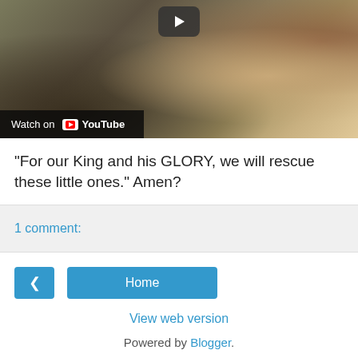[Figure (screenshot): YouTube video thumbnail showing outdoor scene with grass and stones, with a play button at top center and 'Watch on YouTube' bar at bottom left]
"For our King and his GLORY, we will rescue these little ones." Amen?
1 comment:
< (back navigation button)
Home
View web version
Powered by Blogger.